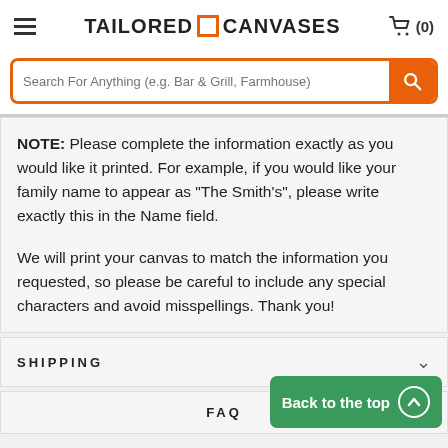TAILORED CANVASES (0)
Search For Anything (e.g. Bar & Grill, Farmhouse)
NOTE: Please complete the information exactly as you would like it printed. For example, if you would like your family name to appear as "The Smith's", please write exactly this in the Name field.
We will print your canvas to match the information you requested, so please be careful to include any special characters and avoid misspellings. Thank you!
SHIPPING
FAQ